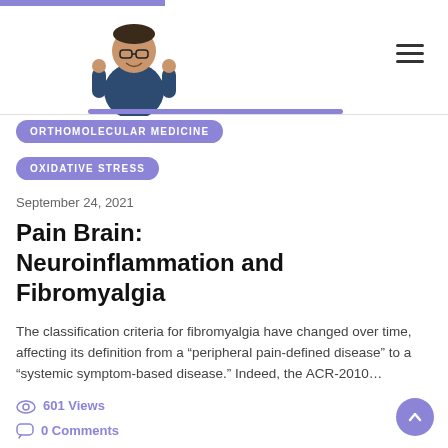[Figure (illustration): Doctor/person in scrubs giving thumbs up, website header image]
ORTHOMOLECULAR MEDICINE OXIDATIVE STRESS
September 24, 2021
Pain Brain: Neuroinflammation and Fibromyalgia
The classification criteria for fibromyalgia have changed over time, affecting its definition from a “peripheral pain-defined disease” to a “systemic symptom-based disease.” Indeed, the ACR-2010…
601 Views
0 Comments